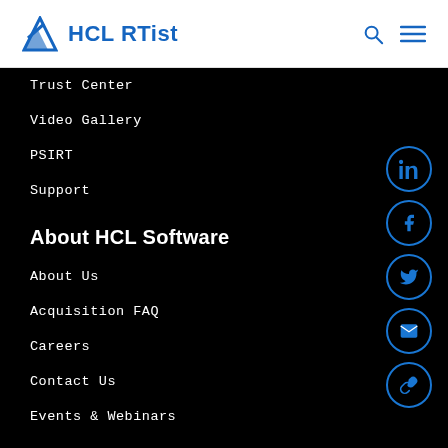HCL RTist
Trust Center
Video Gallery
PSIRT
Support
About HCL Software
About Us
Acquisition FAQ
Careers
Contact Us
Events & Webinars